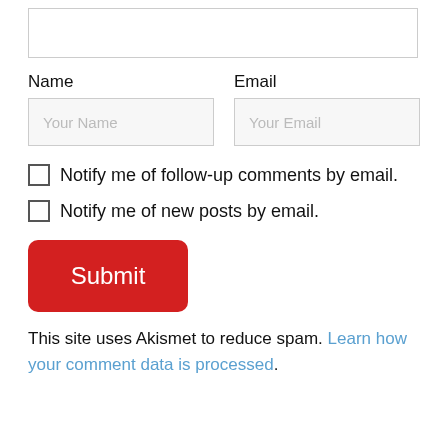[textarea input box]
Name
Email
Your Name
Your Email
Notify me of follow-up comments by email.
Notify me of new posts by email.
Submit
This site uses Akismet to reduce spam. Learn how your comment data is processed.